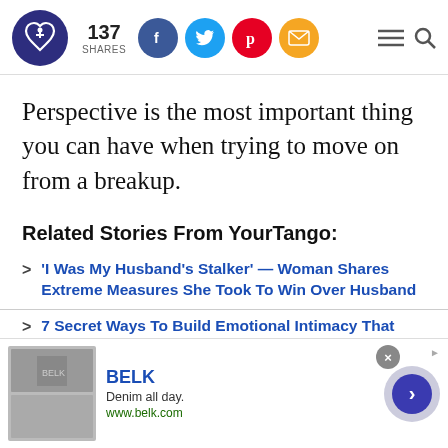[Figure (screenshot): Website header with YourTango logo (dark blue circle with heart), 137 SHARES count, Facebook, Twitter, Pinterest, and email social share icons, plus hamburger menu and search icons]
Perspective is the most important thing you can have when trying to move on from a breakup.
Related Stories From YourTango:
'I Was My Husband's Stalker' — Woman Shares Extreme Measures She Took To Win Over Husband
7 Secret Ways To Build Emotional Intimacy That
[Figure (screenshot): Advertisement banner for BELK: 'Denim all day. www.belk.com' with product images and a navigation arrow button]